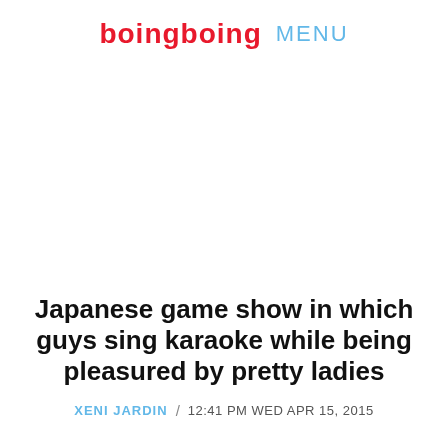bOiNGbOiNG MENU
[Figure (other): Large white/blank image area below the header navigation]
Japanese game show in which guys sing karaoke while being pleasured by pretty ladies
XENI JARDIN / 12:41 PM WED APR 15, 2015